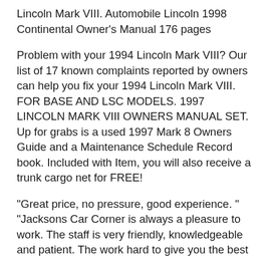Lincoln Mark VIII. Automobile Lincoln 1998 Continental Owner's Manual 176 pages
Problem with your 1994 Lincoln Mark VIII? Our list of 17 known complaints reported by owners can help you fix your 1994 Lincoln Mark VIII. FOR BASE AND LSC MODELS. 1997 LINCOLN MARK VIII OWNERS MANUAL SET. Up for grabs is a used 1997 Mark 8 Owners Guide and a Maintenance Schedule Record book. Included with Item, you will also receive a trunk cargo net for FREE!
"Great price, no pressure, good experience. " "Jacksons Car Corner is always a pleasure to work. The staff is very friendly, knowledgeable and patient. The work hard to give you the best